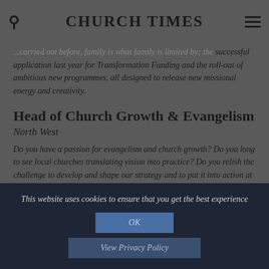CHURCH TIMES
...successful application last year for Transformation Funding and the roll-out of ambitious new programmes, all designed to release new missional energy and creativity.
Head of Church Growth & Evangelism
North West
Do you have a passion for evangelism and church growth? Do you long to see local churches translating vision into practice? Do you relish the challenge to develop and shape our strategy and to put it into action at a local level, in partnership with key players?
This website uses cookies to ensure that you get the best experience
OK
View Privacy Policy